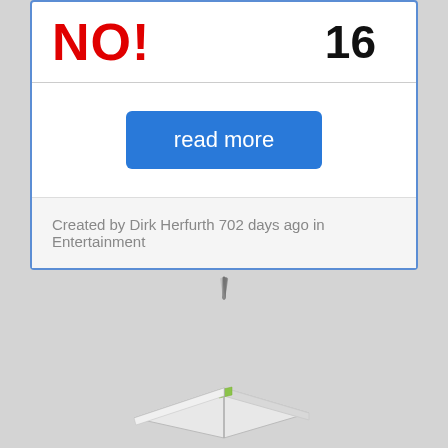NO!
16
read more
Created by Dirk Herfurth 702 days ago in Entertainment
[Figure (other): Loading spinner graphic — several short diagonal lines radiating from a center point]
[Figure (other): Partial view of a book with a green bookmark or page visible, seen from above at angle]